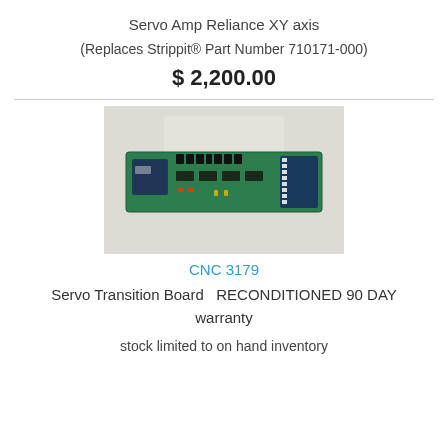Servo Amp Reliance XY axis
(Replaces Strippit® Part Number 710171-000)
$ 2,200.00
[Figure (photo): Photo of a green PCB servo transition board, elongated rectangular shape with connectors and components on a light background]
CNC 3179
Servo Transition Board  RECONDITIONED 90 DAY warranty
stock limited to on hand inventory